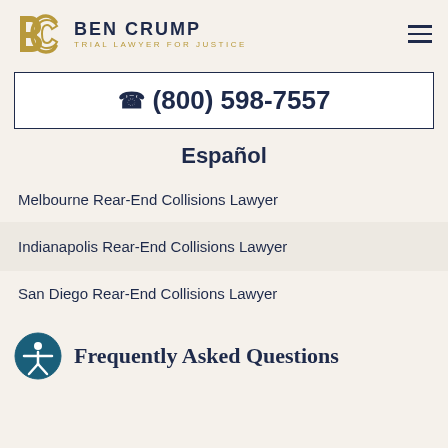[Figure (logo): Ben Crump Trial Lawyer For Justice logo with stylized BC monogram in gold and dark navy text]
☎ (800) 598-7557
Español
Melbourne Rear-End Collisions Lawyer
Indianapolis Rear-End Collisions Lawyer
San Diego Rear-End Collisions Lawyer
Frequently Asked Questions